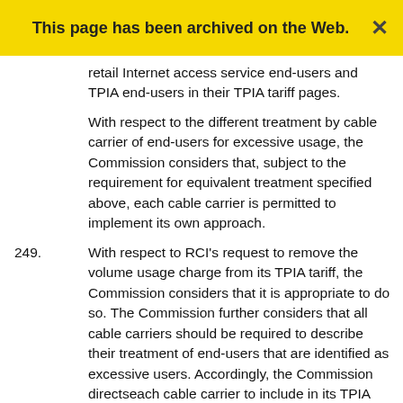This page has been archived on the Web.
retail Internet access service end-users and TPIA end-users in their TPIA tariff pages.
With respect to the different treatment by cable carrier of end-users for excessive usage, the Commission considers that, subject to the requirement for equivalent treatment specified above, each cable carrier is permitted to implement its own approach.
249. With respect to RCI's request to remove the volume usage charge from its TPIA tariff, the Commission considers that it is appropriate to do so. The Commission further considers that all cable carriers should be required to describe their treatment of end-users that are identified as excessive users. Accordingly, the Commission directseach cable carrier to include in its TPIA tariff pages a description of its treatment of end-users that have been identified as excessive users. Also, the Commission directs that if